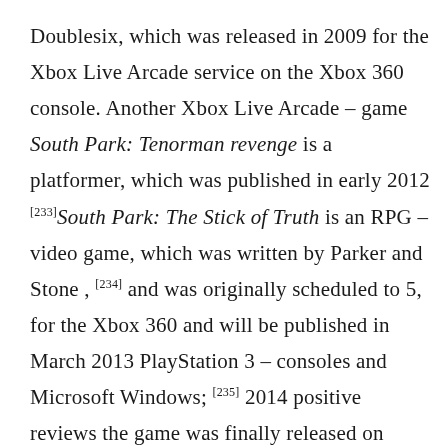Doublesix, which was released in 2009 for the Xbox Live Arcade service on the Xbox 360 console. Another Xbox Live Arcade – game South Park: Tenorman revenge is a platformer, which was published in early 2012 [233]South Park: The Stick of Truth is an RPG – video game, which was written by Parker and Stone , [234] and was originally scheduled to 5, for the Xbox 360 and will be published in March 2013 PlayStation 3 – consoles and Microsoft Windows; [235] 2014 positive reviews the game was finally released on March 4,. [236] A continuation of The Stick of Truth was announced and was